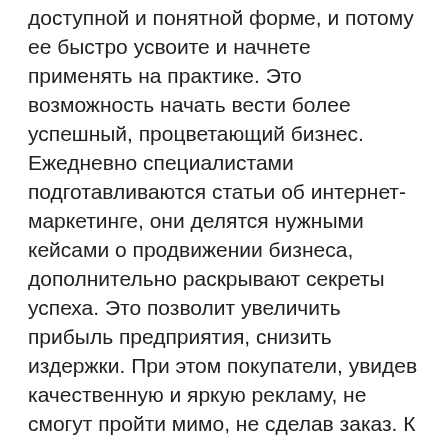доступной и понятной форме, и потому ее быстро усвоите и начнете применять на практике. Это возможность начать вести более успешный, процветающий бизнес. Ежедневно специалистами подготавливаются статьи об интернет-маркетинге, они делятся нужными кейсами о продвижении бизнеса, дополнительно раскрывают секреты успеха. Это позволит увеличить прибыль предприятия, снизить издержки. При этом покупатели, увидев качественную и яркую рекламу, не смогут пройти мимо, не сделав заказ. К важным преимуществам портала относят: - контент высокого качества, он действительно работает; - автор статей, уроков – эксперт, который учитывает все нюансы и помогает всем желающим получить исчерпывающую информацию; - постоянно появляются новые тематические статьи; - приятное оформление портала. На сайте имеются и уроки, которые